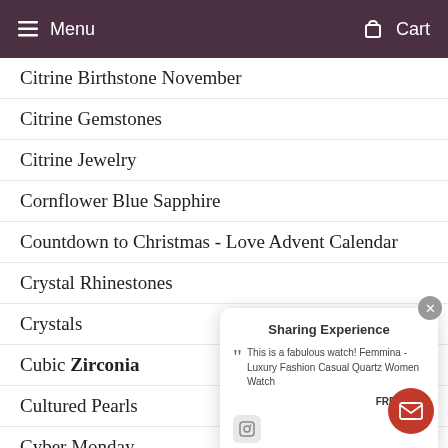Menu  Cart
Citrine Birthstone November
Citrine Gemstones
Citrine Jewelry
Cornflower Blue Sapphire
Countdown to Christmas - Love Advent Calendar
Crystal Rhinestones
Crystals
Cubic Zirconia
Cultured Pearls
Cyber Monday
CZ Diamonds
Diamonds
Diamonds as Investment
Emerald
fashion
Sharing Experience
“This is a fabulous watch! Femmina - Luxury Fashion Casual Quartz Women Watch”
FREIDA A.